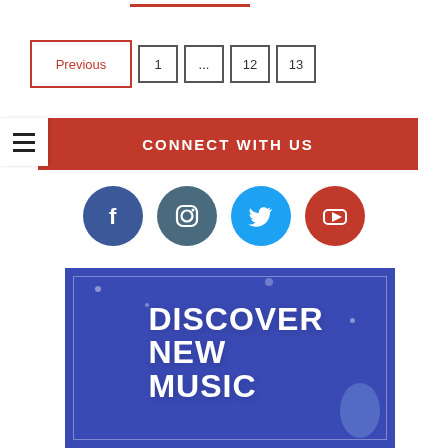Previous | 1 | ... | 12 | 13
CONNECT WITH US
[Figure (infographic): Social media icons: Facebook (blue circle), Instagram (dark teal circle), Twitter (light blue circle), YouTube (red circle)]
[Figure (photo): Promotional image with blue background and white bold text reading DISCOVER NEW MUSIC]